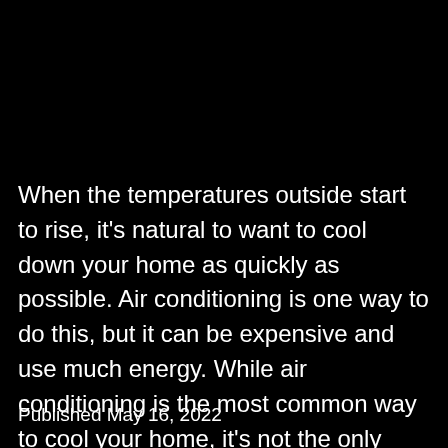When the temperatures outside start to rise, it's natural to want to cool down your home as quickly as possible. Air conditioning is one way to do this, but it can be expensive and use much energy. While air conditioning is the most common way to cool your home, it's not the only option. There… Continue reading
Published May 16, 2022